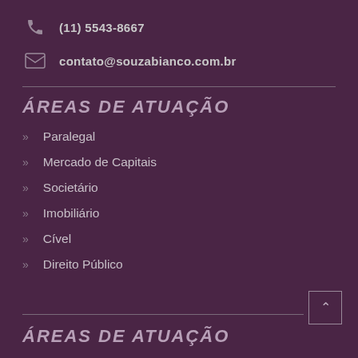(11) 5543-8667
contato@souzabianco.com.br
ÁREAS DE ATUAÇÃO
Paralegal
Mercado de Capitais
Societário
Imobiliário
Cível
Direito Público
ÁREAS DE ATUAÇÃO